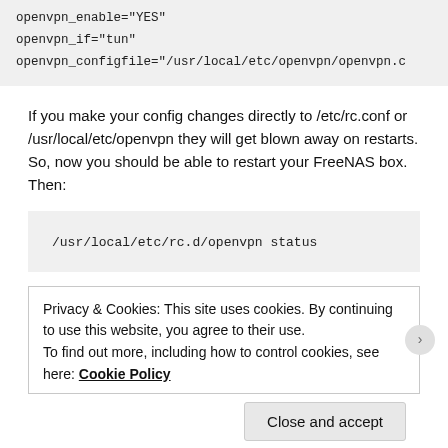openvpn_enable="YES"
openvpn_if="tun"
openvpn_configfile="/usr/local/etc/openvpn/openvpn.c
If you make your config changes directly to /etc/rc.conf or /usr/local/etc/openvpn they will get blown away on restarts. So, now you should be able to restart your FreeNAS box. Then:
/usr/local/etc/rc.d/openvpn status
Privacy & Cookies: This site uses cookies. By continuing to use this website, you agree to their use.
To find out more, including how to control cookies, see here: Cookie Policy
Close and accept